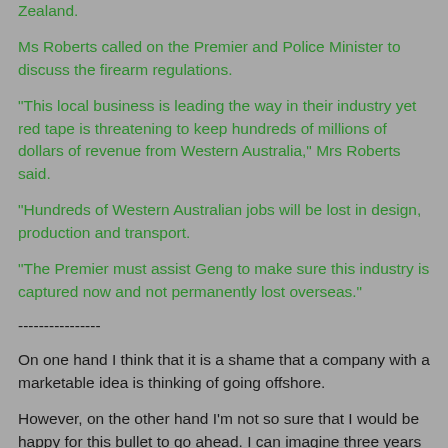Zealand.
Ms Roberts called on the Premier and Police Minister to discuss the firearm regulations.
“This local business is leading the way in their industry yet red tape is threatening to keep hundreds of millions of dollars of revenue from Western Australia,” Mrs Roberts said.
“Hundreds of Western Australian jobs will be lost in design, production and transport.
“The Premier must assist Geng to make sure this industry is captured now and not permanently lost overseas.”
----------------
On one hand I think that it is a shame that a company with a marketable idea is thinking of going offshore.
However, on the other hand I’m not so sure that I would be happy for this bullet to go ahead. I can imagine three years